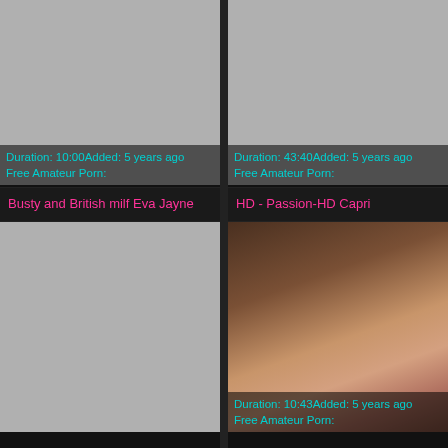[Figure (screenshot): Gray placeholder thumbnail, top-left video]
Duration: 10:00Added: 5 years ago
Free Amateur Porn:
[Figure (screenshot): Gray placeholder thumbnail, top-right video]
Duration: 43:40Added: 5 years ago
Free Amateur Porn:
Busty and British milf Eva Jayne
HD - Passion-HD Capri
[Figure (screenshot): Gray placeholder thumbnail, bottom-left video]
[Figure (photo): Bottom-right video thumbnail showing adult content]
Duration: 10:43Added: 5 years ago
Free Amateur Porn: